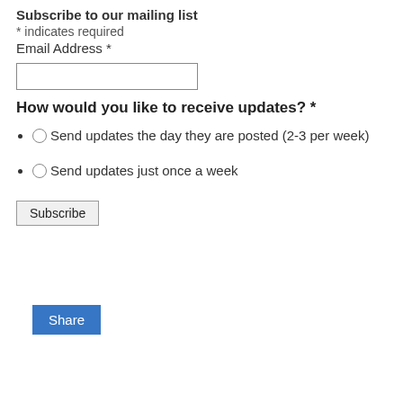Subscribe to our mailing list
* indicates required
Email Address *
How would you like to receive updates? *
Send updates the day they are posted (2-3 per week)
Send updates just once a week
Subscribe
Share